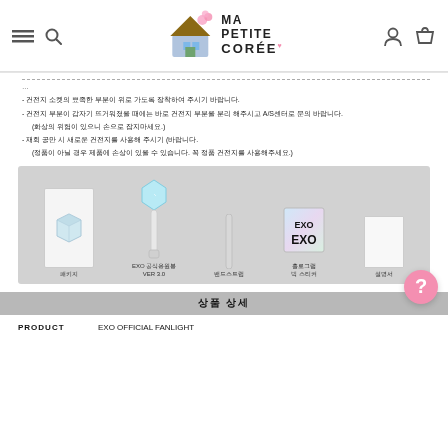MA PETITE CORÉE
- 건전지 소켓의 뾰족한 부분이 위로 가도록 장착하여 주시기 바랍니다.
- 건전지 부분이 갑자기 뜨거워졌을 때에는 바로 건전지 부분을 분리 해주시고 A/S센터로 문의 바랍니다.
  (화상의 위험이 있으니 손으로 잡지마세요.)
- 재회 공만 시 새로운 건전지를 사용해 주시기 바랍니다.
  (정품이 아닐 경우 제품에 손상이 있을 수 있습니다. 꼭 정품 건전지를 사용해주세요.)
[Figure (photo): EXO official fanlight product contents: packaging box, EXO official fanlight VER 3.0 lightstick, band strap, hologram big sticker, instruction manual shown on grey background with Korean labels]
상품 상세
| PRODUCT |  |
| --- | --- |
| PRODUCT | EXO OFFICIAL FANLIGHT |